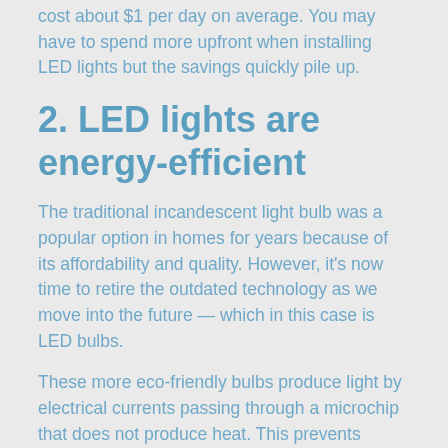cost about $1 per day on average. You may have to spend more upfront when installing LED lights but the savings quickly pile up.
2. LED lights are energy-efficient
The traditional incandescent light bulb was a popular option in homes for years because of its affordability and quality. However, it's now time to retire the outdated technology as we move into the future — which in this case is LED bulbs.
These more eco-friendly bulbs produce light by electrical currents passing through a microchip that does not produce heat. This prevents energy being wasted – making it an affordable, environment-friendly option.